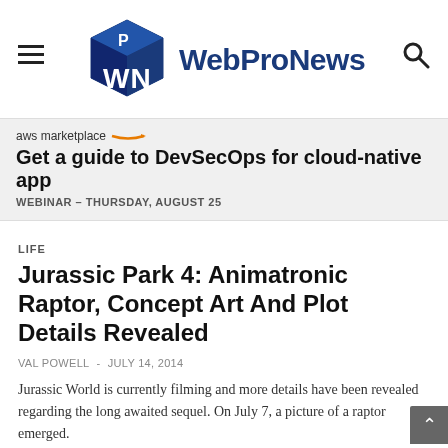WebProNews
[Figure (infographic): AWS Marketplace advertisement banner: 'Get a guide to DevSecOps for cloud-native app' with subtext 'WEBINAR – THURSDAY, AUGUST 25']
LIFE
Jurassic Park 4: Animatronic Raptor, Concept Art And Plot Details Revealed
VAL POWELL  -  JULY 14, 2014
Jurassic World is currently filming and more details have been revealed regarding the long awaited sequel. On July 7, a picture of a raptor emerged.